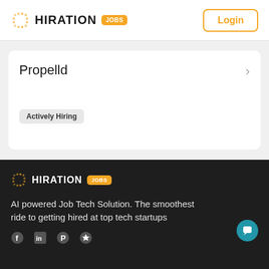HIRATION JOBS | Login
Propelld
Actively Hiring
[Figure (logo): Hiration Jobs logo in footer]
AI powered Job Tech Solution. The smoothest ride to getting hired at top tech startups